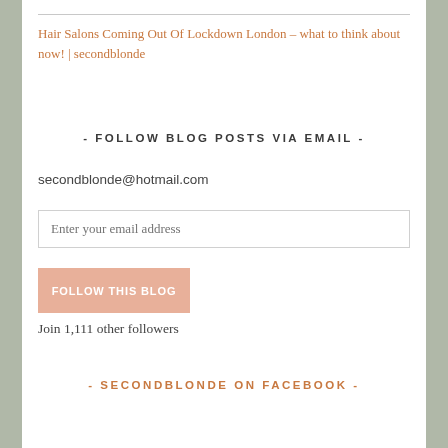Hair Salons Coming Out Of Lockdown London – what to think about now! | secondblonde
- FOLLOW BLOG POSTS VIA EMAIL -
secondblonde@hotmail.com
Enter your email address
FOLLOW THIS BLOG
Join 1,111 other followers
- SECONDBLONDE ON FACEBOOK -